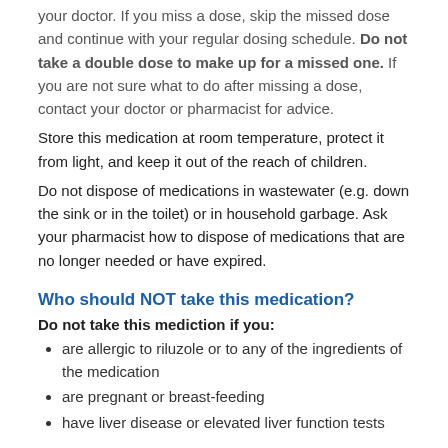your doctor. If you miss a dose, skip the missed dose and continue with your regular dosing schedule. Do not take a double dose to make up for a missed one. If you are not sure what to do after missing a dose, contact your doctor or pharmacist for advice.
Store this medication at room temperature, protect it from light, and keep it out of the reach of children.
Do not dispose of medications in wastewater (e.g. down the sink or in the toilet) or in household garbage. Ask your pharmacist how to dispose of medications that are no longer needed or have expired.
Who should NOT take this medication?
Do not take this mediction if you:
are allergic to riluzole or to any of the ingredients of the medication
are pregnant or breast-feeding
have liver disease or elevated liver function tests